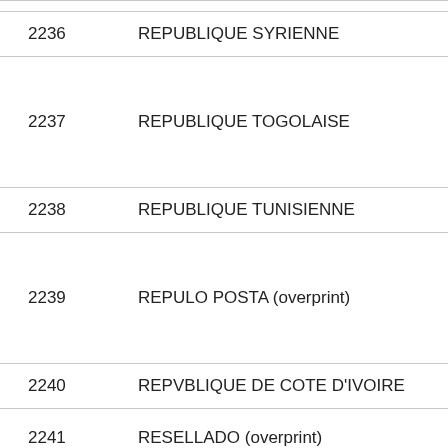| Number | Name |
| --- | --- |
| 2236 | REPUBLIQUE SYRIENNE |
| 2237 | REPUBLIQUE TOGOLAISE |
| 2238 | REPUBLIQUE TUNISIENNE |
| 2239 | REPULO POSTA (overprint) |
| 2240 | REPVBLIQUE DE COTE D'IVOIRE |
| 2241 | RESELLADO (overprint) |